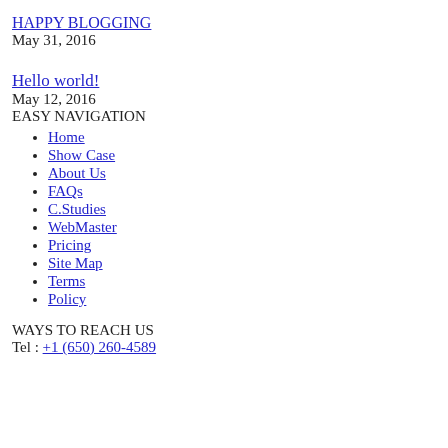HAPPY BLOGGING
May 31, 2016
Hello world!
May 12, 2016
EASY NAVIGATION
Home
Show Case
About Us
FAQs
C.Studies
WebMaster
Pricing
Site Map
Terms
Policy
WAYS TO REACH US
Tel : +1 (650) 260-4589